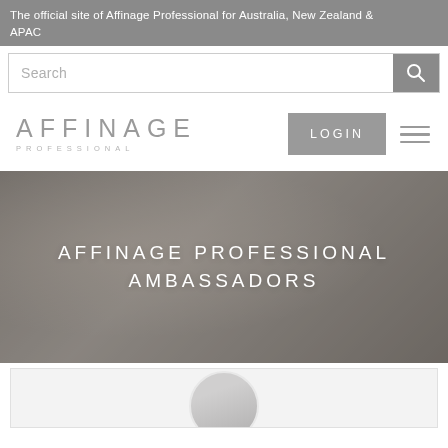The official site of Affinage Professional for Australia, New Zealand & APAC
Search
[Figure (logo): Affinage Professional logo — wordmark in light grey with PROFESSIONAL subtitle in spaced caps]
LOGIN
AFFINAGE PROFESSIONAL AMBASSADORS
[Figure (photo): Circular portrait photo of a person, partially visible at bottom of page]